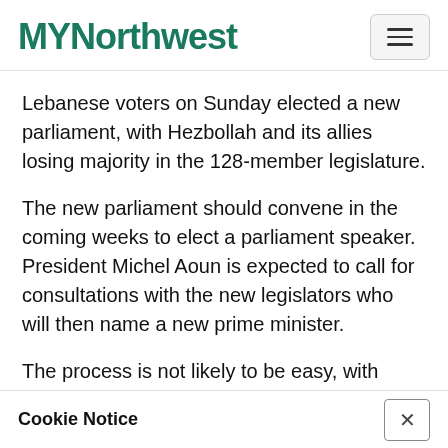MYNorthwest
Lebanese voters on Sunday elected a new parliament, with Hezbollah and its allies losing majority in the 128-member legislature.
The new parliament should convene in the coming weeks to elect a parliament speaker. President Michel Aoun is expected to call for consultations with the new legislators who will then name a new prime minister.
The process is not likely to be easy, with
Cookie Notice